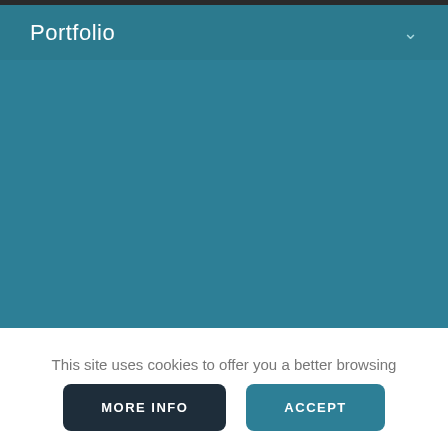Portfolio
[Figure (other): Teal/blue-green background area representing a portfolio image placeholder]
This site uses cookies to offer you a better browsing experience. By browsing this website, you agree to our use of cookies.
MORE INFO   ACCEPT